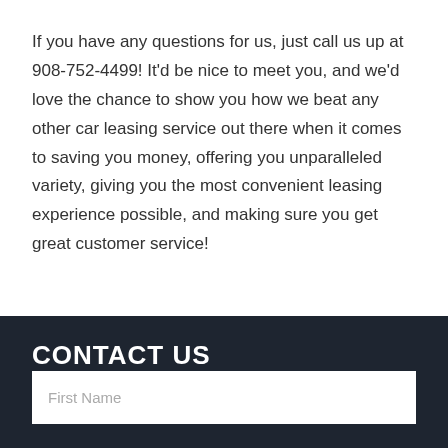If you have any questions for us, just call us up at 908-752-4499! It'd be nice to meet you, and we'd love the chance to show you how we beat any other car leasing service out there when it comes to saving you money, offering you unparalleled variety, giving you the most convenient leasing experience possible, and making sure you get great customer service!
CONTACT US
First Name